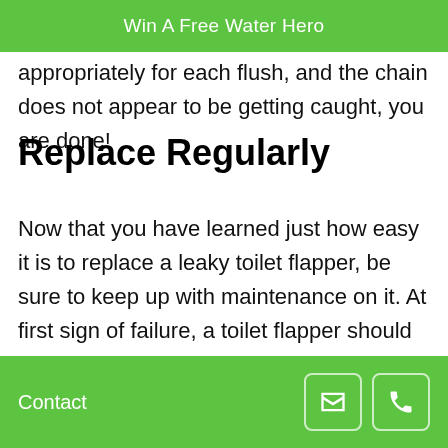Win A Free Water Hero
appropriately for each flush, and the chain does not appear to be getting caught, you are done!
Replace Regularly
Now that you have learned just how easy it is to replace a leaky toilet flapper, be sure to keep up with maintenance on it. At first sign of failure, a toilet flapper should be replaced. This will prevent the leak from causing damage to your home.
Contact